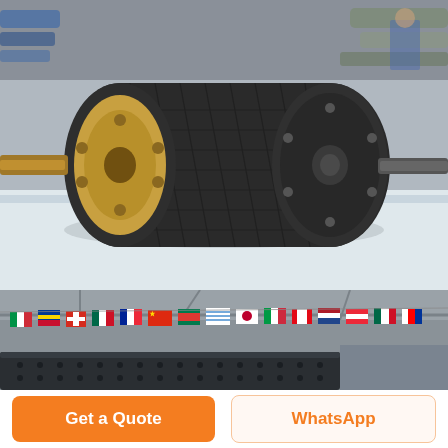[Figure (photo): Industrial conveyor pulley/roller with rubber coating and exposed shaft/hub mechanism, lying on a white surface in a factory workshop with metal pipes in the background.]
[Figure (photo): Interior of a large industrial factory hall decorated with numerous international country flags hanging from the ceiling rafters, with a large dark conveyor/machinery component in the foreground.]
Get a Quote
WhatsApp